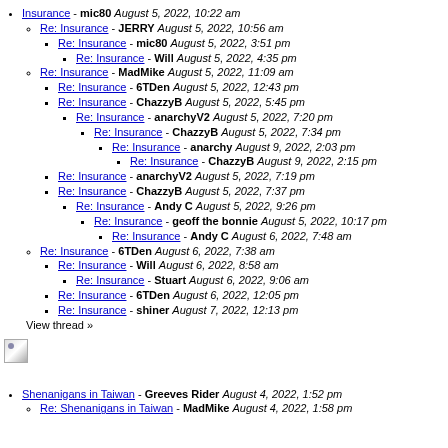Insurance - mic80 August 5, 2022, 10:22 am
Re: Insurance - JERRY August 5, 2022, 10:56 am
Re: Insurance - mic80 August 5, 2022, 3:51 pm
Re: Insurance - Will August 5, 2022, 4:35 pm
Re: Insurance - MadMike August 5, 2022, 11:09 am
Re: Insurance - 6TDen August 5, 2022, 12:43 pm
Re: Insurance - ChazzyB August 5, 2022, 5:45 pm
Re: Insurance - anarchyV2 August 5, 2022, 7:20 pm
Re: Insurance - ChazzyB August 5, 2022, 7:34 pm
Re: Insurance - anarchy August 9, 2022, 2:03 pm
Re: Insurance - ChazzyB August 9, 2022, 2:15 pm
Re: Insurance - anarchyV2 August 5, 2022, 7:19 pm
Re: Insurance - ChazzyB August 5, 2022, 7:37 pm
Re: Insurance - Andy C August 5, 2022, 9:26 pm
Re: Insurance - geoff the bonnie August 5, 2022, 10:17 pm
Re: Insurance - Andy C August 6, 2022, 7:48 am
Re: Insurance - 6TDen August 6, 2022, 7:38 am
Re: Insurance - Will August 6, 2022, 8:58 am
Re: Insurance - Stuart August 6, 2022, 9:06 am
Re: Insurance - 6TDen August 6, 2022, 12:05 pm
Re: Insurance - shiner August 7, 2022, 12:13 pm
View thread »
[Figure (photo): Small broken/placeholder image icon]
Shenanigans in Taiwan - Greeves Rider August 4, 2022, 1:52 pm
Re: Shenanigans in Taiwan - MadMike August 4, 2022, 1:58 pm